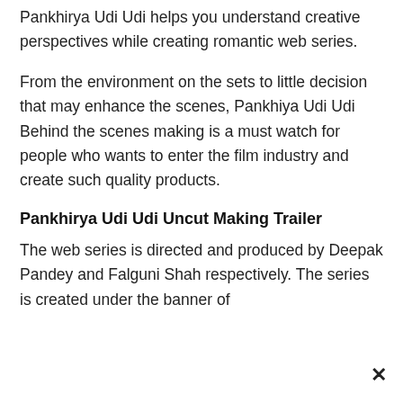Pankhirya Udi Udi helps you understand creative perspectives while creating romantic web series.
From the environment on the sets to little decision that may enhance the scenes, Pankhiya Udi Udi Behind the scenes making is a must watch for people who wants to enter the film industry and create such quality products.
Pankhirya Udi Udi Uncut Making Trailer
The web series is directed and produced by Deepak Pandey and Falguni Shah respectively. The series is created under the banner of